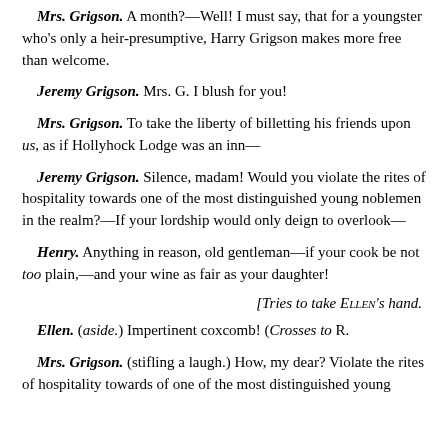Mrs. Grigson. A month?—Well! I must say, that for a youngster who's only a heir-presumptive, Harry Grigson makes more free than welcome.
Jeremy Grigson. Mrs. G. I blush for you!
Mrs. Grigson. To take the liberty of billetting his friends upon us, as if Hollyhock Lodge was an inn—
Jeremy Grigson. Silence, madam! Would you violate the rites of hospitality towards one of the most distinguished young noblemen in the realm?—If your lordship would only deign to overlook—
Henry. Anything in reason, old gentleman—if your cook be not too plain,—and your wine as fair as your daughter!
[Tries to take ELLEN's hand.
Ellen. (aside.) Impertinent coxcomb! (Crosses to R.
Mrs. Grigson. (stifling a laugh.) How, my dear? Violate the rites of hospitality towards of one of the most distinguished young